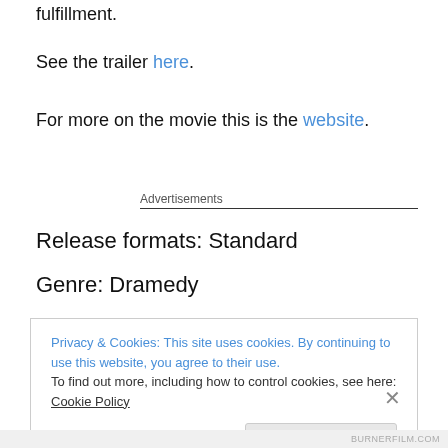fulfillment.
See the trailer here.
For more on the movie this is the website.
Advertisements
Release formats: Standard
Genre: Dramedy
Privacy & Cookies: This site uses cookies. By continuing to use this website, you agree to their use.
To find out more, including how to control cookies, see here: Cookie Policy
Close and accept
BURNERFILM.COM